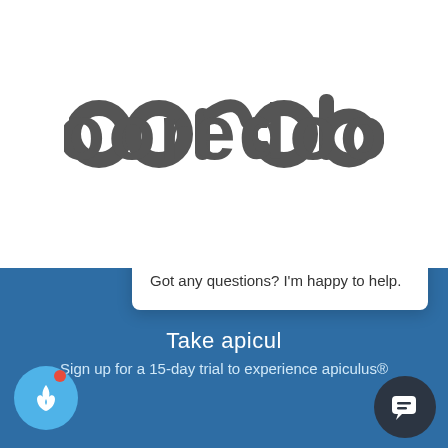[Figure (logo): Ooredoo logo in dark gray rounded lettering on white background]
[Figure (screenshot): Blue section of a webpage with chat popup overlay. Popup shows 'IQ' avatar with text 'Got any questions? I'm happy to help.' and a close X button. Below shows partial text 'Take apicul...' and 'Sign up for a 15-day trial to experience apiculus®'. Fire icon button bottom left, chat icon button bottom right.]
Got any questions? I'm happy to help.
Take apicul...
Sign up for a 15-day trial to experience apiculus®